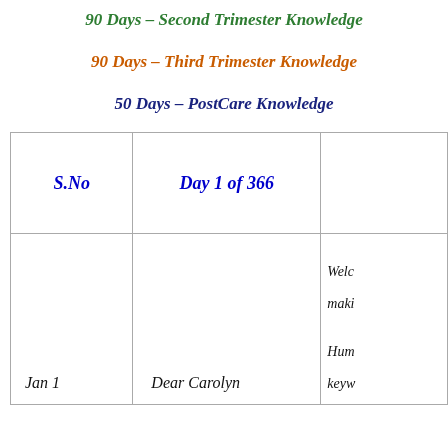90 Days – Second Trimester Knowledge
90 Days – Third Trimester Knowledge
50 Days – PostCare Knowledge
| S.No | Day 1 of 366 |  |
| --- | --- | --- |
| Jan 1 | Dear Carolyn | Welc... maki... Hum... keyw... |